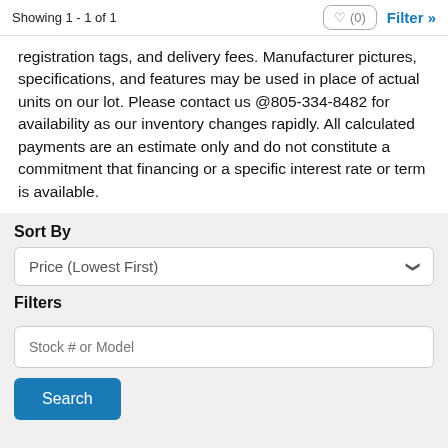Showing 1 - 1 of 1
registration tags, and delivery fees. Manufacturer pictures, specifications, and features may be used in place of actual units on our lot. Please contact us @805-334-8482 for availability as our inventory changes rapidly. All calculated payments are an estimate only and do not constitute a commitment that financing or a specific interest rate or term is available.
Sort By
Price (Lowest First)
Filters
Stock # or Model
Search